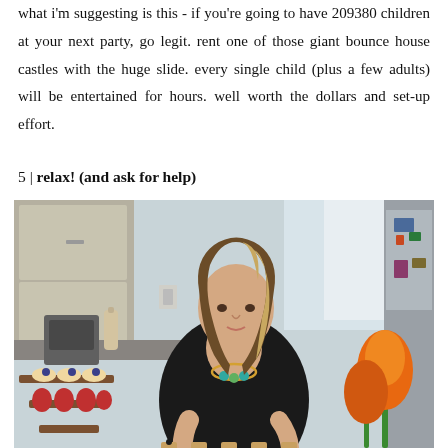what i'm suggesting is this - if you're going to have 209380 children at your next party, go legit. rent one of those giant bounce house castles with the huge slide. every single child (plus a few adults) will be entertained for hours. well worth the dollars and set-up effort.
5 | relax! (and ask for help)
[Figure (photo): A woman in a black sleeveless top leaning over a kitchen counter decorating cupcakes on a white tray. There is a tiered dessert stand with cupcakes and strawberries on the left, and orange tulips on the right. Kitchen cabinets and appliances are visible in the background.]